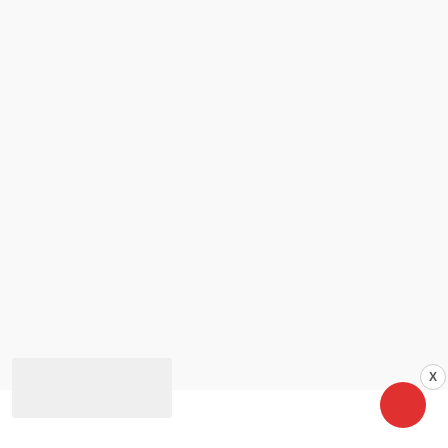[Figure (other): Mostly blank white/light gray webpage background area with a partial content box visible at bottom left]
[Figure (other): SHE Partner Network advertisement banner. Teal/turquoise background. Shows a woman with glasses and laptop. Text: 'WE HELP CONTENT CREATORS GROW BUSINESSES THROUGH...' SHE logo with globe icon. 'PARTNER NETWORK BECOME A MEMBER'. Button: 'LEARN MORE'. Close button (X) in upper right corner with red circle.]